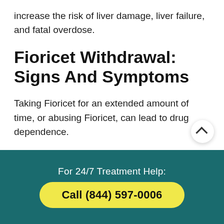increase the risk of liver damage, liver failure, and fatal overdose.
Fioricet Withdrawal: Signs And Symptoms
Taking Fioricet for an extended amount of time, or abusing Fioricet, can lead to drug dependence.
This is when the body becomes accustomed to the presence of a drug in your system, and can lead to
For 24/7 Treatment Help:
Call (844) 597-0006